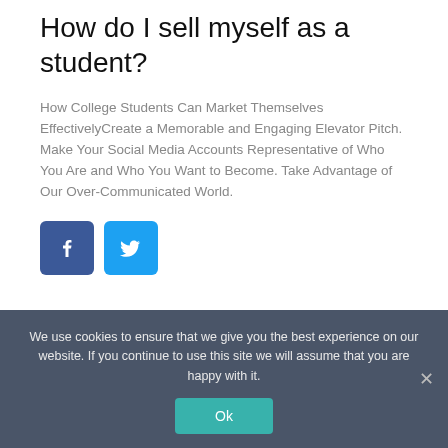How do I sell myself as a student?
How College Students Can Market Themselves EffectivelyCreate a Memorable and Engaging Elevator Pitch. Make Your Social Media Accounts Representative of Who You Are and Who You Want to Become. Take Advantage of Our Over-Communicated World.
[Figure (logo): Facebook and Twitter social share icon buttons]
< HOW DO YOU WRITE A GOOD TITLE PAGE?
We use cookies to ensure that we give you the best experience on our website. If you continue to use this site we will assume that you are happy with it.
Ok